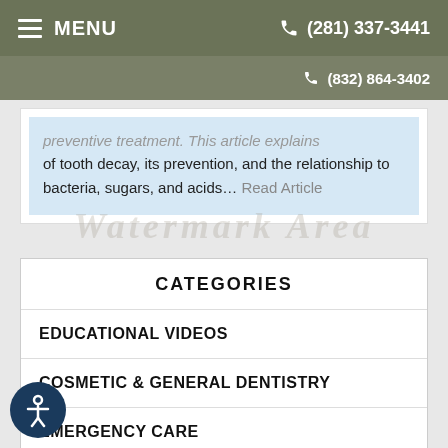MENU  (281) 337-3441
(832) 864-3402
...of tooth decay, its prevention, and the relationship to bacteria, sugars, and acids... Read Article
CATEGORIES
EDUCATIONAL VIDEOS
COSMETIC & GENERAL DENTISTRY
EMERGENCY CARE
ENDODONTICS